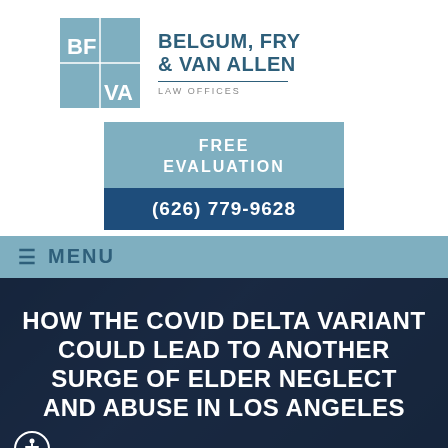[Figure (logo): Belgum, Fry & Van Allen law firm logo — square with BF/VA monogram on steel blue background, beside firm name text]
[Figure (infographic): Free Evaluation call-to-action box with phone number (626) 779-9628 on steel blue and dark blue background]
≡ MENU
HOW THE COVID DELTA VARIANT COULD LEAD TO ANOTHER SURGE OF ELDER NEGLECT AND ABUSE IN LOS ANGELES